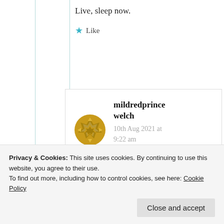Live, sleep now.
★ Like
mildredprince welch
10th Aug 2021 at 9:22 am
Smiles
Privacy & Cookies: This site uses cookies. By continuing to use this website, you agree to their use.
To find out more, including how to control cookies, see here: Cookie Policy
Close and accept